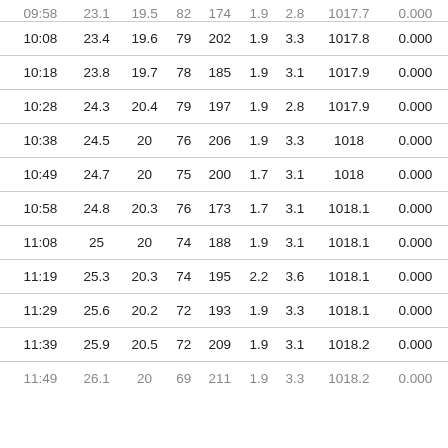| Time | Col1 | Col2 | Col3 | Col4 | Col5 | Col6 | Col7 | Col8 |
| --- | --- | --- | --- | --- | --- | --- | --- | --- |
| 10:08 | 23.4 | 19.6 | 79 | 202 | 1.9 | 3.3 | 1017.8 | 0.000 |
| 10:18 | 23.8 | 19.7 | 78 | 185 | 1.9 | 3.1 | 1017.9 | 0.000 |
| 10:28 | 24.3 | 20.4 | 79 | 197 | 1.9 | 2.8 | 1017.9 | 0.000 |
| 10:38 | 24.5 | 20 | 76 | 206 | 1.9 | 3.3 | 1018 | 0.000 |
| 10:49 | 24.7 | 20 | 75 | 200 | 1.7 | 3.1 | 1018 | 0.000 |
| 10:58 | 24.8 | 20.3 | 76 | 173 | 1.7 | 3.1 | 1018.1 | 0.000 |
| 11:08 | 25 | 20 | 74 | 188 | 1.9 | 3.1 | 1018.1 | 0.000 |
| 11:19 | 25.3 | 20.3 | 74 | 195 | 2.2 | 3.6 | 1018.1 | 0.000 |
| 11:29 | 25.6 | 20.2 | 72 | 193 | 1.9 | 3.3 | 1018.1 | 0.000 |
| 11:39 | 25.9 | 20.5 | 72 | 209 | 1.9 | 3.1 | 1018.2 | 0.000 |
| 11:49 | 26.1 | 20 | 69 | 211 | 1.9 | 3.3 | 1018.2 | 0.000 |